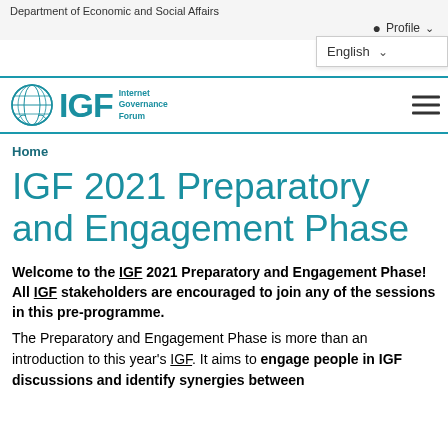Department of Economic and Social Affairs
[Figure (logo): IGF Internet Governance Forum logo with UN emblem circle]
Home
IGF 2021 Preparatory and Engagement Phase
Welcome to the IGF 2021 Preparatory and Engagement Phase! All IGF stakeholders are encouraged to join any of the sessions in this pre-programme.
The Preparatory and Engagement Phase is more than an introduction to this year's IGF. It aims to engage people in IGF discussions and identify synergies between